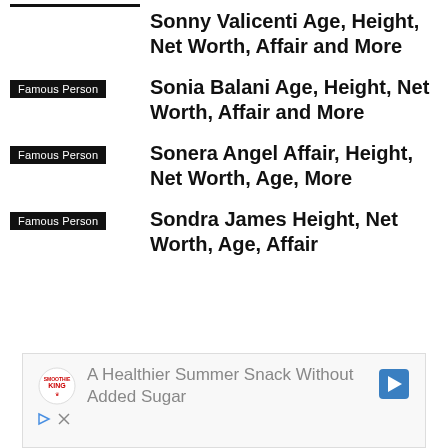Sonny Valicenti Age, Height, Net Worth, Affair and More
Famous Person
Sonia Balani Age, Height, Net Worth, Affair and More
Famous Person
Sonera Angel Affair, Height, Net Worth, Age, More
Famous Person
Sondra James Height, Net Worth, Age, Affair
[Figure (infographic): Advertisement: A Healthier Summer Snack Without Added Sugar, with Smoothie King logo and navigation arrow, plus ad control icons]